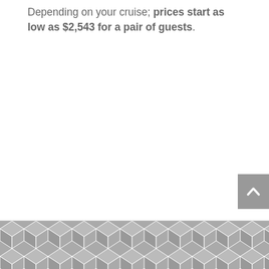Depending on your cruise, prices start as low as $2,543 for a pair of guests.
[Figure (illustration): A scroll-to-top button (upward chevron/caret arrow on gray background) in the right side of the page.]
[Figure (illustration): A decorative geometric hexagon/cube pattern in gray and white at the bottom of the page.]